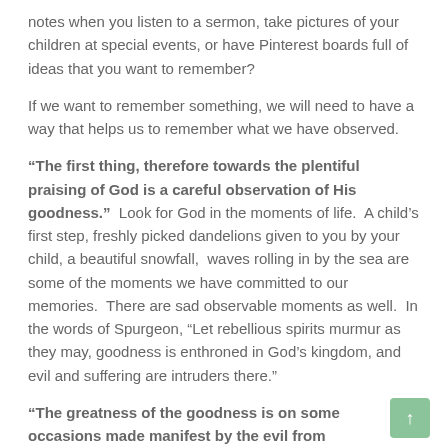notes when you listen to a sermon, take pictures of your children at special events, or have Pinterest boards full of ideas that you want to remember?
If we want to remember something, we will need to have a way that helps us to remember what we have observed.
“The first thing, therefore towards the plentiful praising of God is a careful observation of His goodness.” Look for God in the moments of life. A child’s first step, freshly picked dandelions given to you by your child, a beautiful snowfall, waves rolling in by the sea are some of the moments we have committed to our memories. There are sad observable moments as well. In the words of Spurgeon, "Let rebellious spirits murmur as they may, goodness is enthroned in God’s kingdom, and evil and suffering are intruders there."
“The greatness of the goodness is on some occasions made manifest by the evil from which it rescues us.” I think